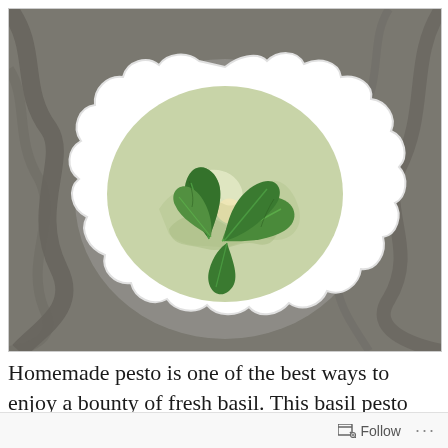[Figure (photo): A white scalloped-edge bowl filled with creamy pale green basil pesto, topped with fresh green basil leaves, photographed from above on a marble surface.]
Homemade pesto is one of the best ways to enjoy a bounty of fresh basil. This basil pesto
Follow ...